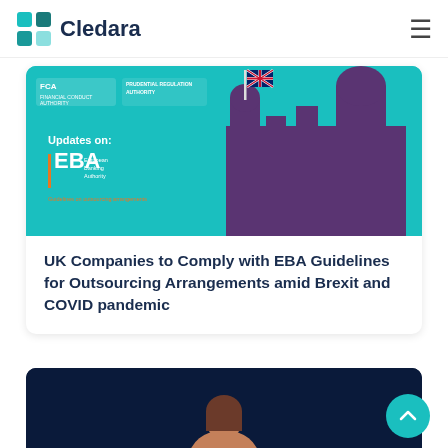Cledara
[Figure (screenshot): Article card image with teal background showing EBA (European Banking Authority) branding with text 'Updates on:' and 'EBA European Banking Authority', with a purple silhouette of a building (Houses of Parliament) with a UK flag, and FCA / Prudential Regulation Authority logos at top left.]
UK Companies to Comply with EBA Guidelines for Outsourcing Arrangements amid Brexit and COVID pandemic
[Figure (photo): Dark navy blue background with a partial view of a woman from the shoulders up, card partially visible at bottom of page.]